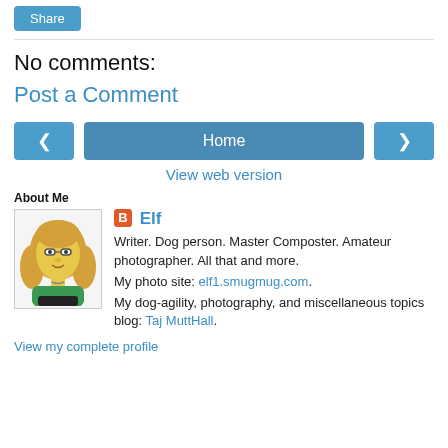[Figure (other): Share button (blue rounded rectangle with white text 'Share')]
No comments:
Post a Comment
[Figure (other): Navigation row with left arrow button, Home button, and right arrow button]
View web version
About Me
[Figure (illustration): Cartoon avatar of a woman with blonde hair wearing a green top, in Simpsons style]
Elf
Writer. Dog person. Master Composter. Amateur photographer. All that and more.
My photo site: elf1.smugmug.com.
My dog-agility, photography, and miscellaneous topics blog: Taj MuttHall.
View my complete profile